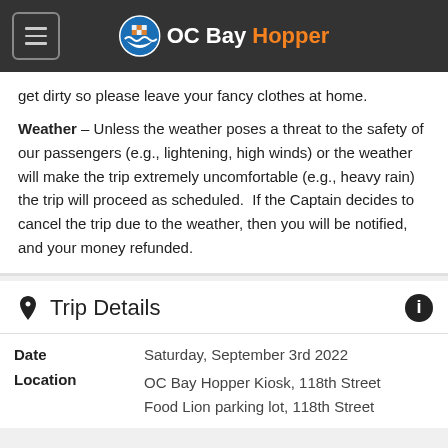OC Bay Hopper
get dirty so please leave your fancy clothes at home.
Weather – Unless the weather poses a threat to the safety of our passengers (e.g., lightening, high winds) or the weather will make the trip extremely uncomfortable (e.g., heavy rain) the trip will proceed as scheduled.  If the Captain decides to cancel the trip due to the weather, then you will be notified, and your money refunded.
Trip Details
Date	Saturday, September 3rd 2022
Location	OC Bay Hopper Kiosk, 118th Street
Food Lion parking lot, 118th Street